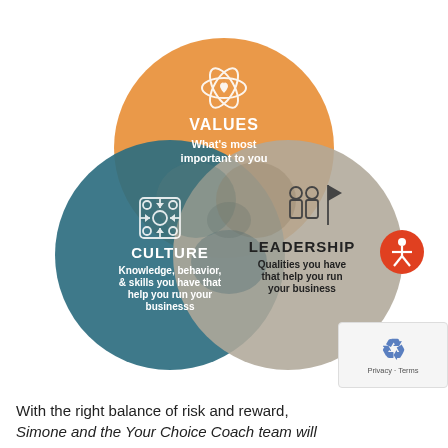[Figure (infographic): Venn diagram with three overlapping circles: orange circle (top center) labeled VALUES with icon and text 'What's most important to you'; dark teal circle (bottom left) labeled CULTURE with icon and text 'Knowledge, behavior, & skills you have that help you run your businesss'; gray circle (bottom right) labeled LEADERSHIP with icon and text 'Qualities you have that help you run your business'. An accessibility icon appears on the far right.]
With the right balance of risk and reward, Simone and the Your Choice Coach team will